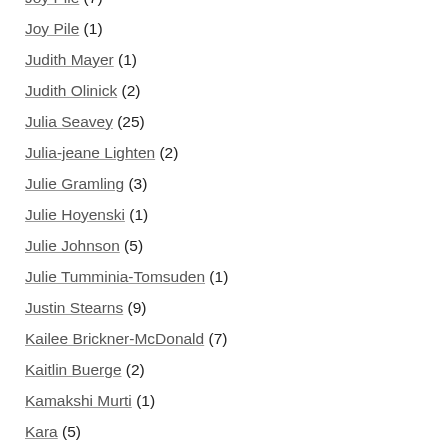Joy Pile (7)
Joy Pile (1)
Judith Mayer (1)
Judith Olinick (2)
Julia Seavey (25)
Julia-jeane Lighten (2)
Julie Gramling (3)
Julie Hoyenski (1)
Julie Johnson (5)
Julie Tumminia-Tomsuden (1)
Justin Stearns (9)
Kailee Brickner-McDonald (7)
Kaitlin Buerge (2)
Kamakshi Murti (1)
Kara (5)
Karen Bourque (18)
Karen Carpenter (28)
Karen LaFlamme (3)
Karin Hanta (40)